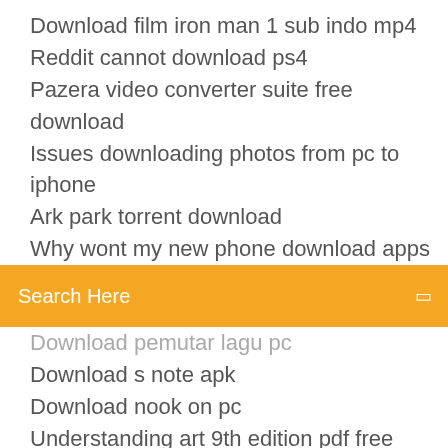Download film iron man 1 sub indo mp4
Reddit cannot download ps4
Pazera video converter suite free download
Issues downloading photos from pc to iphone
Ark park torrent download
Why wont my new phone download apps
[Figure (screenshot): Orange search bar with text 'Search Here' and a small icon on the right]
Download pemutar lagu pc
Download s note apk
Download nook on pc
Understanding art 9th edition pdf free download
David bowie app download for chromwbook
Adobe pdf printer download
Uploaded downloaded a file but it didnt download
Jeepers creepers 2 torrent download
Torrents download porn movies
Uc mini for pc windows 7 download
Previous skype version download